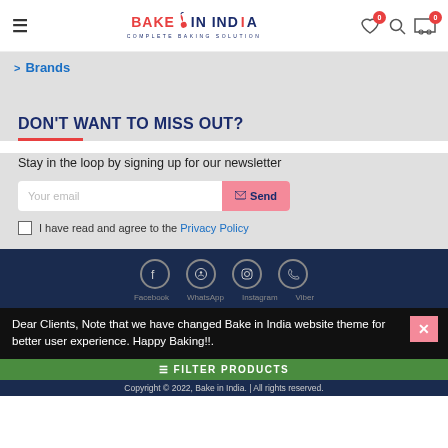Bake In India - Complete Baking Solution
Brands
DON'T WANT TO MISS OUT?
Stay in the loop by signing up for our newsletter
Your email | Send
I have read and agree to the Privacy Policy
[Figure (other): Social media icons: Facebook, WhatsApp, Instagram, Phone]
Dear Clients, Note that we have changed Bake in India website theme for better user experience. Happy Baking!!.
FILTER PRODUCTS
Copyright © 2022, Bake in India. | All rights reserved.